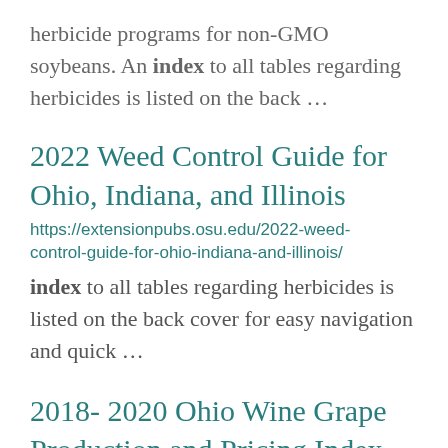herbicide programs for non-GMO soybeans. An index to all tables regarding herbicides is listed on the back ...
2022 Weed Control Guide for Ohio, Indiana, and Illinois
https://extensionpubs.osu.edu/2022-weed-control-guide-for-ohio-indiana-and-illinois/
index to all tables regarding herbicides is listed on the back cover for easy navigation and quick ...
2018- 2020 Ohio Wine Grape Production and Pricing Index